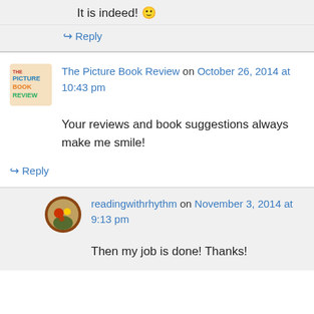It is indeed! 🙂
↳ Reply
The Picture Book Review on October 26, 2014 at 10:43 pm
Your reviews and book suggestions always make me smile!
↳ Reply
readingwithrhythm on November 3, 2014 at 9:13 pm
Then my job is done! Thanks!